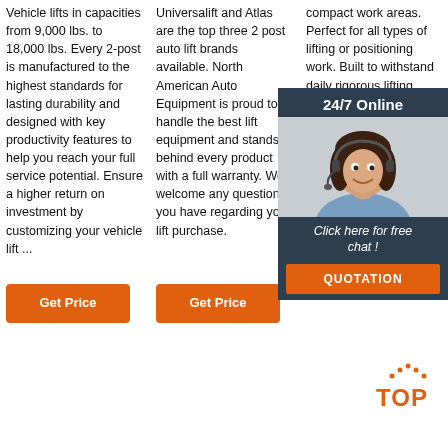Vehicle lifts in capacities from 9,000 lbs. to 18,000 lbs. Every 2-post is manufactured to the highest standards for lasting durability and designed with key productivity features to help you reach your full service potential. Ensure a higher return on investment by customizing your vehicle lift ...
Get Price
Universalift and Atlas are the top three 2 post auto lift brands available. North American Auto Equipment is proud to handle the best lift equipment and stands behind every product with a full warranty. We welcome any question you have regarding your lift purchase.
Get Price
compact work areas. Perfect for all types of lifting or positioning work. Built to withstand daily rigorous lifting heavy loads. second H.P. 1- motor. adjustable are standard optional sold separately. FOB Shipping Point.
Get Price
[Figure (photo): Customer service representative (woman with headset) with 24/7 Online chat overlay panel and QUOTATION button]